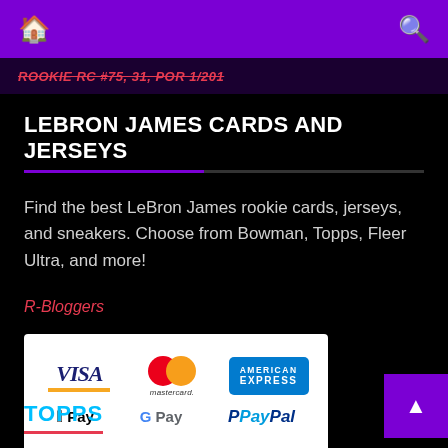Home | Search
ROOKIE RC #75, 31, POR 1/201
LEBRON JAMES CARDS AND JERSEYS
Find the best LeBron James rookie cards, jerseys, and sneakers. Choose from Bowman, Topps, Fleer Ultra, and more!
R-Bloggers
[Figure (logo): Payment methods logos: VISA, Mastercard, American Express, Apple Pay, G Pay, PayPal]
TOPPS